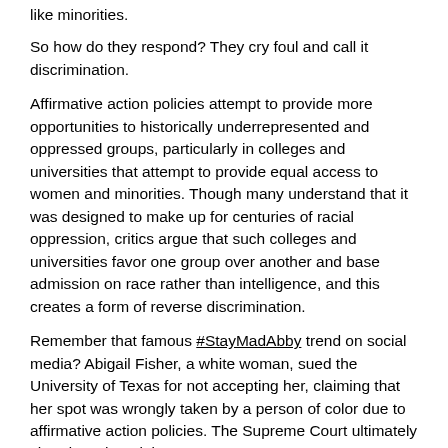like minorities.
So how do they respond? They cry foul and call it discrimination.
Affirmative action policies attempt to provide more opportunities to historically underrepresented and oppressed groups, particularly in colleges and universities that attempt to provide equal access to women and minorities. Though many understand that it was designed to make up for centuries of racial oppression, critics argue that such colleges and universities favor one group over another and base admission on race rather than intelligence, and this creates a form of reverse discrimination.
Remember that famous #StayMadAbby trend on social media? Abigail Fisher, a white woman, sued the University of Texas for not accepting her, claiming that her spot was wrongly taken by a person of color due to affirmative action policies. The Supreme Court ultimately shot down her claims.
Despite what some people think, it's clear to me that affirmative action practices were key in significantly raising the number of college graduates of color, who were often underprivileged and underrepresented. It offers more opportunities and help to those who didn't get a social or economic head start in life, and it does not discriminate against those who did.